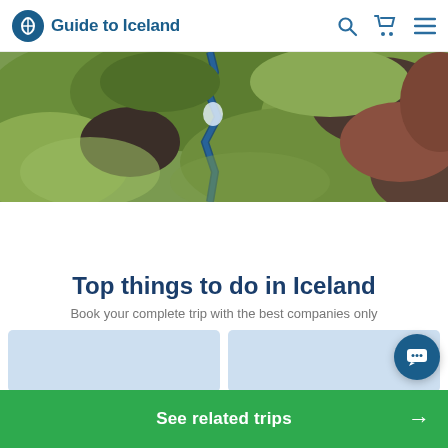Guide to Iceland
[Figure (photo): Aerial view of Iceland landscape showing green mossy terrain with a waterfall or river cutting through dark volcanic rock, photographed from above]
Top things to do in Iceland
Book your complete trip with the best companies only
[Figure (screenshot): Two partially visible light blue card elements at the bottom of the page]
See related trips →